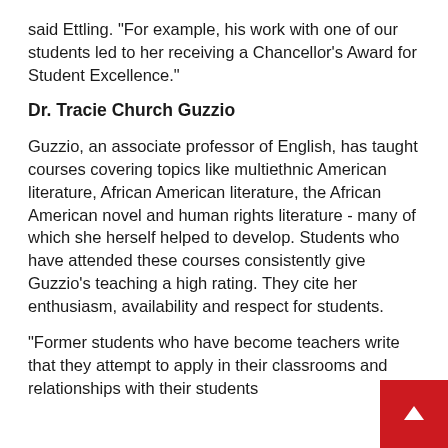said Ettling. "For example, his work with one of our students led to her receiving a Chancellor's Award for Student Excellence."
Dr. Tracie Church Guzzio
Guzzio, an associate professor of English, has taught courses covering topics like multiethnic American literature, African American literature, the African American novel and human rights literature - many of which she herself helped to develop. Students who have attended these courses consistently give Guzzio's teaching a high rating. They cite her enthusiasm, availability and respect for students.
"Former students who have become teachers write that they attempt to apply in their classrooms and relationships with their students